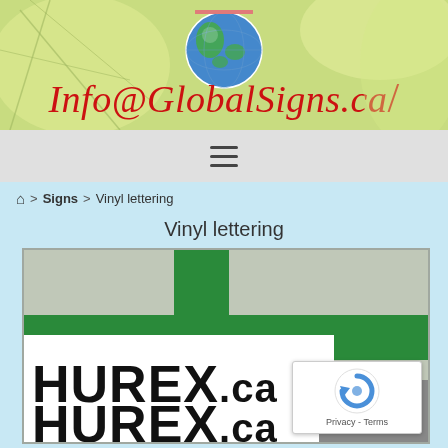[Figure (logo): Global Signs website header banner with globe graphic and email Info@GlobalSigns.ca in cursive red text on green/yellow background]
[Figure (other): Navigation bar with hamburger menu icon (three horizontal lines) on grey background]
Signs > Vinyl lettering
Vinyl lettering
[Figure (photo): Photo of vinyl lettering showing HUREX.ca text in large black bold letters on white vinyl, against green background, with reCAPTCHA badge overlay]